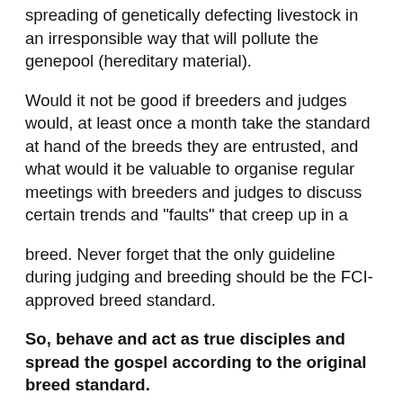spreading of genetically defecting livestock in an irresponsible way that will pollute the genepool (hereditary material).
Would it not be good if breeders and judges would, at least once a month take the standard at hand of the breeds they are entrusted, and what would it be valuable to organise regular meetings with breeders and judges to discuss certain trends and "faults" that creep up in a
breed. Never forget that the only guideline during judging and breeding should be the FCI-approved breed standard.
So, behave and act as true disciples and spread the gospel according to the original breed standard.
not.. as some looking for fame and fortune who have not a clue what they are talking about, but do speak well, with forked...